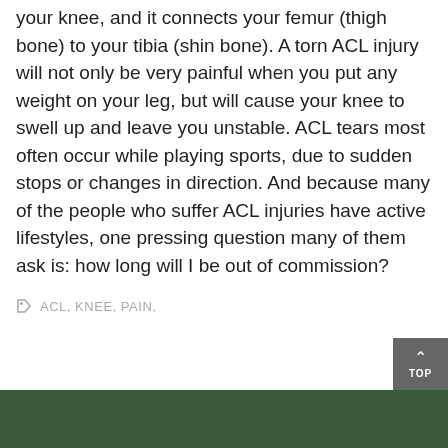your knee, and it connects your femur (thigh bone) to your tibia (shin bone). A torn ACL injury will not only be very painful when you put any weight on your leg, but will cause your knee to swell up and leave you unstable. ACL tears most often occur while playing sports, due to sudden stops or changes in direction. And because many of the people who suffer ACL injuries have active lifestyles, one pressing question many of them ask is: how long will I be out of commission?
ACL, KNEE, PAIN,